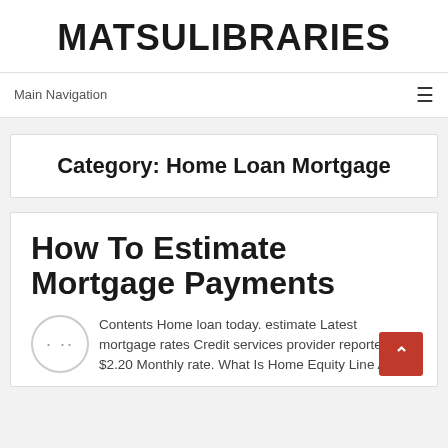MATSULIBRARIES
Main Navigation
Category: Home Loan Mortgage
How To Estimate Mortgage Payments
Contents Home loan today. estimate Latest mortgage rates Credit services provider reported $2.20 Monthly rate. What Is Home Equity Line A